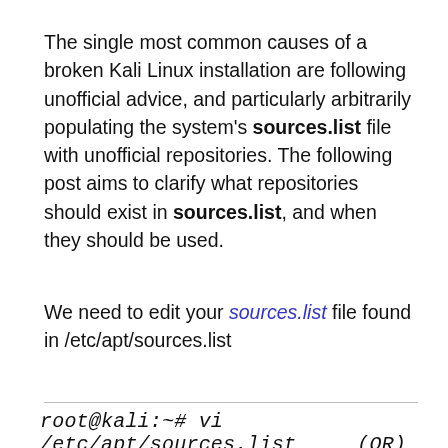The single most common causes of a broken Kali Linux installation are following unofficial advice, and particularly arbitrarily populating the system's sources.list file with unofficial repositories. The following post aims to clarify what repositories should exist in sources.list, and when they should be used.
We need to edit your sources.list file found in /etc/apt/sources.list
root@kali:~# vi /etc/apt/sources.list    (OR)